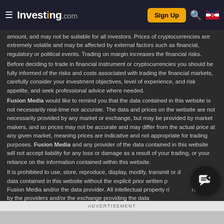Investing.com — Sign Up
amount, and may not be suitable for all investors. Prices of cryptocurrencies are extremely volatile and may be affected by external factors such as financial, regulatory or political events. Trading on margin increases the financial risks.
Before deciding to trade in financial instrument or cryptocurrencies you should be fully informed of the risks and costs associated with trading the financial markets, carefully consider your investment objectives, level of experience, and risk appetite, and seek professional advice where needed.
Fusion Media would like to remind you that the data contained in this website is not necessarily real-time nor accurate. The data and prices on the website are not necessarily provided by any market or exchange, but may be provided by market makers, and so prices may not be accurate and may differ from the actual price at any given market, meaning prices are indicative and not appropriate for trading purposes. Fusion Media and any provider of the data contained in this website will not accept liability for any loss or damage as a result of your trading, or your reliance on the information contained within this website.
It is prohibited to use, store, reproduce, display, modify, transmit or distribute the data contained in this website without the explicit prior written permission of Fusion Media and/or the data provider. All intellectual property rights are reserved by the providers and/or the exchange providing the data contained in this website.
[Figure (other): Chat/support bubble icon, bottom right]
ADVERTISEMENT